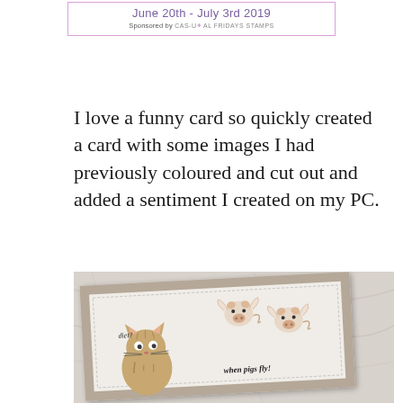[Figure (other): Banner/header image showing 'June 20th - July 3rd 2019' with purple border and 'Sponsored by CAS-UAL FRIDAYS STAMPS' text below]
I love a funny card so quickly created a card with some images I had previously coloured and cut out and added a sentiment I created on my PC.
[Figure (photo): Photograph of a handmade greeting card on a marble surface. The card has a kraft/tan outer layer with a white inner panel with dashed border. It features illustrated cat and flying pig images with text 'diet?' and 'when pigs fly!' in a whimsical stamped style.]